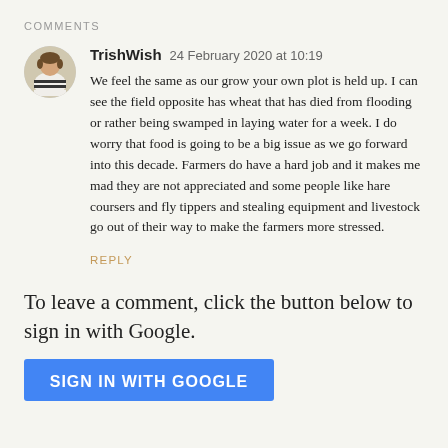COMMENTS
[Figure (photo): Circular avatar photo of TrishWish, showing a person in a striped top]
TrishWish  24 February 2020 at 10:19
We feel the same as our grow your own plot is held up. I can see the field opposite has wheat that has died from flooding or rather being swamped in laying water for a week. I do worry that food is going to be a big issue as we go forward into this decade. Farmers do have a hard job and it makes me mad they are not appreciated and some people like hare coursers and fly tippers and stealing equipment and livestock go out of their way to make the farmers more stressed.
REPLY
To leave a comment, click the button below to sign in with Google.
[Figure (other): Blue button with white text reading SIGN IN WITH GOOGLE]